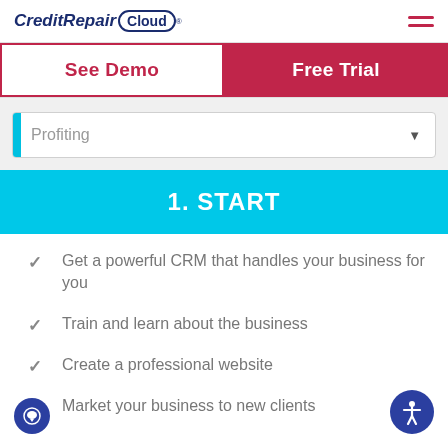[Figure (logo): CreditRepair Cloud logo with cloud icon and registered trademark symbol]
CreditRepair Cloud® — hamburger menu icon
See Demo
Free Trial
Profiting
1. START
Get a powerful CRM that handles your business for you
Train and learn about the business
Create a professional website
Market your business to new clients